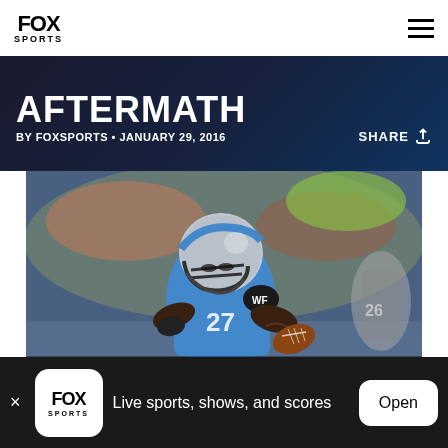FOX SPORTS
AFTERMATH
BY FOXSPORTS • JANUARY 29, 2016
SHARE
[Figure (photo): Detroit Lions player wearing blue jersey number 27 with helmet, carrying football during a game against the New Orleans Saints]
Live sports, shows, and scores
Open